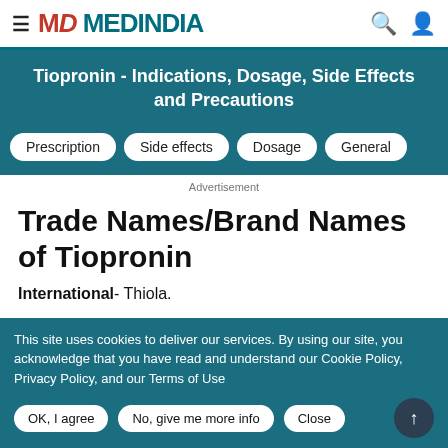MEDINDIA
Tiopronin - Indications, Dosage, Side Effects and Precautions
Prescription | Side effects | Dosage | General
Advertisement
Trade Names/Brand Names of Tiopronin
International- Thiola.
This site uses cookies to deliver our services. By using our site, you acknowledge that you have read and understand our Cookie Policy, Privacy Policy, and our Terms of Use